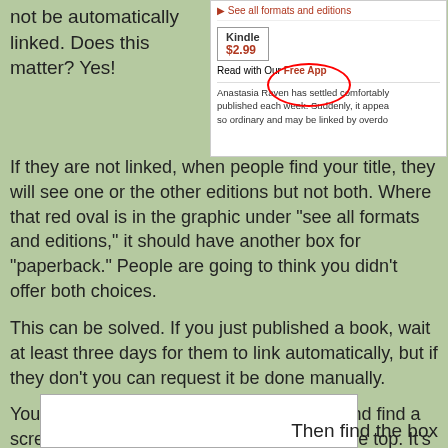not be automatically linked. Does this matter? Yes!
[Figure (screenshot): Amazon product page screenshot showing Kindle edition at $2.99 with a red oval highlighting the format selection area. Contains 'See all formats and editions' link, a Kindle box with $2.99 price, 'Read with Our Free App' link, and partial book description for Anastasia Raven.]
If they are not linked, when people find your title, they will see one or the other editions but not both. Where that red oval is in the graphic under "see all formats and editions," it should have another box for "paperback." People are going to think you didn't offer both choices.
This can be solved. If you just published a book, wait at least three days for them to link automatically, but if they don't you can request it be done manually.
You have to log in to your Kindle Account and find a screen where the link for Help appears at the top. It's not on every screen! Click it.
[Figure (screenshot): Partial screenshot visible at bottom left of page showing a white box interface element.]
Then find the box